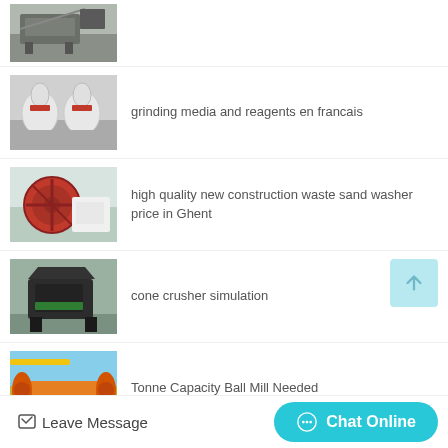[Figure (photo): Industrial machinery thumbnail - crusher/vibrating screen in factory]
[Figure (photo): Two large grinding mill machines (red/white) in factory]
grinding media and reagents en francais
[Figure (photo): Large red and white sand washer machine outdoors]
high quality new construction waste sand washer price in Ghent
[Figure (photo): Black cone crusher machine in factory]
cone crusher simulation
[Figure (photo): Orange ball mill machine]
Tonne Capacity Ball Mill Needed